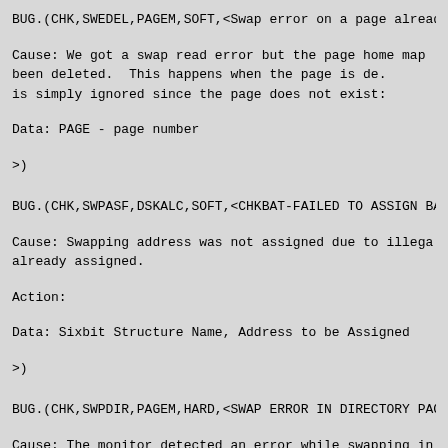BUG.(CHK,SWEDEL,PAGEM,SOFT,<Swap error on a page already
Cause:   We got a swap read error but the page home map 
         been deleted.  This happens when the page is de.
         is simply ignored since the page does not exist:
Data:    PAGE - page number
>)
BUG.(CHK,SWPASF,DSKALC,SOFT,<CHKBAT-FAILED TO ASSIGN BA
Cause:   Swapping address was not assigned due to illega.
         already assigned.
Action:
Data:    Sixbit Structure Name, Address to be Assigned
>)
BUG.(CHK,SWPDIR,PAGEM,HARD,<SWAP ERROR IN DIRECTORY PAG
Cause:   The monitor detected an error while swapping in .
         OFN as the currently mapped directory. The directory wi.
Data:    STRX - Structure number